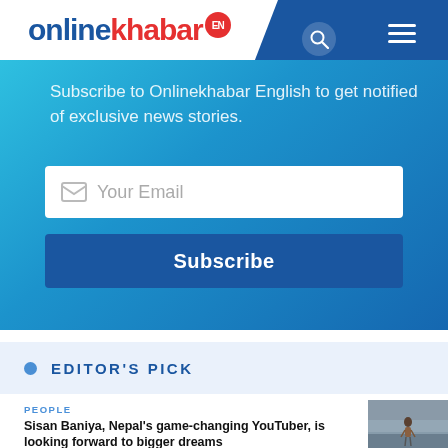onlinekhabar EN
Subscribe to Onlinekhabar English to get notified of exclusive news stories.
Your Email
Subscribe
EDITOR'S PICK
PEOPLE
Sisan Baniya, Nepal's game-changing YouTuber, is looking forward to bigger dreams
[Figure (photo): Person standing on a road in foggy/misty conditions, wearing a brown hoodie, seen from behind at a distance.]